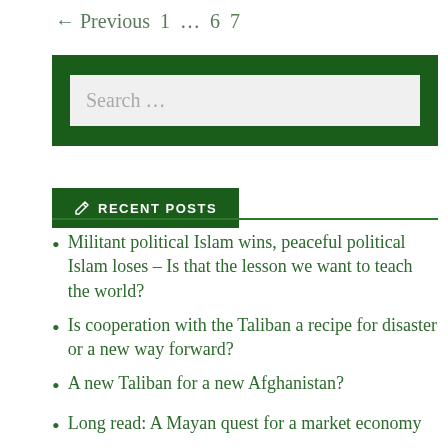← Previous 1 … 6 7
[Figure (other): Search input box with dark green background, placeholder text 'Search ...']
✏ RECENT POSTS
Militant political Islam wins, peaceful political Islam loses – Is that the lesson we want to teach the world?
Is cooperation with the Taliban a recipe for disaster or a new way forward?
A new Taliban for a new Afghanistan?
Long read: A Mayan quest for a market economy